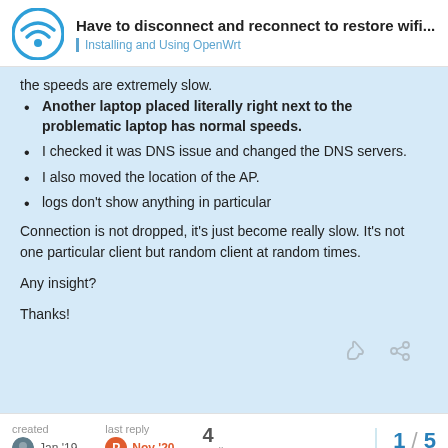Have to disconnect and reconnect to restore wifi... | Installing and Using OpenWrt
the speeds are extremely slow.
Another laptop placed literally right next to the problematic laptop has normal speeds.
I checked it was DNS issue and changed the DNS servers.
I also moved the location of the AP.
logs don't show anything in particular
Connection is not dropped, it's just become really slow. It's not one particular client but random client at random times.
Any insight?
Thanks!
created Jan '19 | last reply Nov '20 | 4 replies | 1 / 5